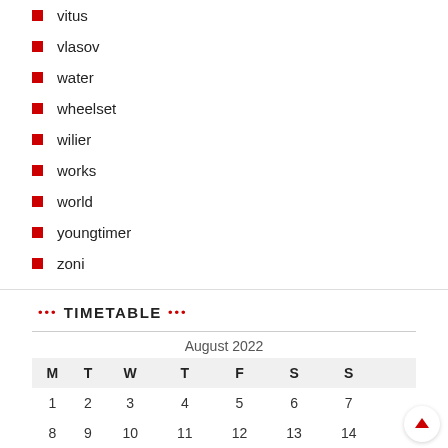vitus
vlasov
water
wheelset
wilier
works
world
youngtimer
zoni
TIMETABLE
| M | T | W | T | F | S | S |
| --- | --- | --- | --- | --- | --- | --- |
| 1 | 2 | 3 | 4 | 5 | 6 | 7 |
| 8 | 9 | 10 | 11 | 12 | 13 | 14 |